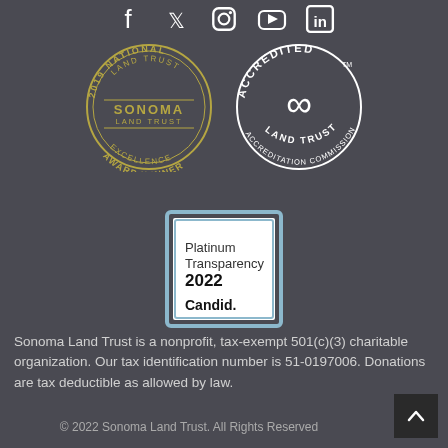[Figure (logo): Social media icons: Facebook, Twitter, Instagram, YouTube, LinkedIn]
[Figure (logo): 2019 National Land Trust Sonoma Land Trust Excellence Award Winner badge]
[Figure (logo): Accredited Land Trust Accreditation Commission badge with infinity symbol]
[Figure (logo): Platinum Transparency 2022 Candid. badge]
Sonoma Land Trust is a nonprofit, tax-exempt 501(c)(3) charitable organization. Our tax identification number is 51-0197006. Donations are tax deductible as allowed by law.
© 2022 Sonoma Land Trust. All Rights Reserved